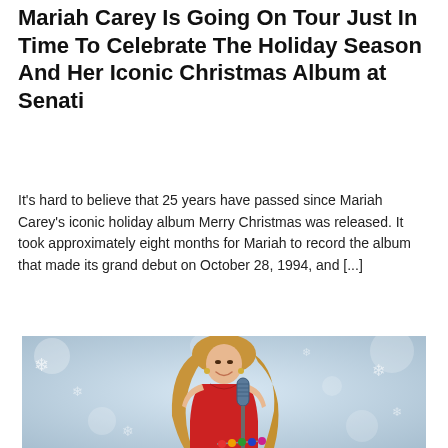Mariah Carey Is Going On Tour Just In Time To Celebrate The Holiday Season And Her Iconic Christmas Album at Senati
It's hard to believe that 25 years have passed since Mariah Carey's iconic holiday album Merry Christmas was released. It took approximately eight months for Mariah to record the album that made its grand debut on October 28, 1994, and [...]
[Figure (photo): Mariah Carey posing in a red dress with long blonde hair, smiling, in front of a vintage microphone, with a winter/snowflake background]